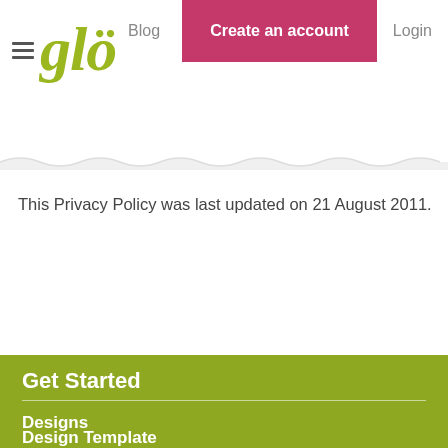[Figure (logo): Glo website header with hamburger menu, glo logo in green italic, Blog nav link, pink Create an account button, and Login link]
This Privacy Policy was last updated on 21 August 2011.
Get Started
Designs
Design Template
Features
Examples
Resources